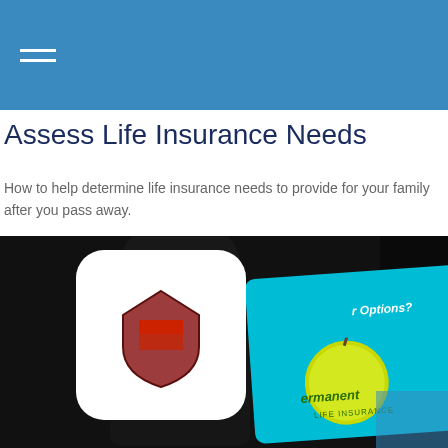Assess Life Insurance Needs
How to help determine life insurance needs to provide for your family after you pass away.
[Figure (photo): Dark photo of a person holding a tablet device showing a life insurance app with a green apple graphic and text 'Options?' and 'Permanent Life Insurance'. A white rounded-square icon with a shield logo overlays the left portion of the image. A blue overlay appears in the bottom right corner.]